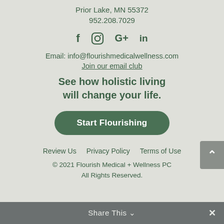Prior Lake, MN 55372
952.208.7029
[Figure (infographic): Social media icons row: Facebook (f), Instagram (circle/camera), Google+ (G+), LinkedIn (in)]
Email: info@flourishmedicalwellness.com
Join our email club
See how holistic living will change your life.
Start Flourishing
Review Us   Privacy Policy   Terms of Use
© 2021 Flourish Medical + Wellness PC
All Rights Reserved.
Share This ∨  ×